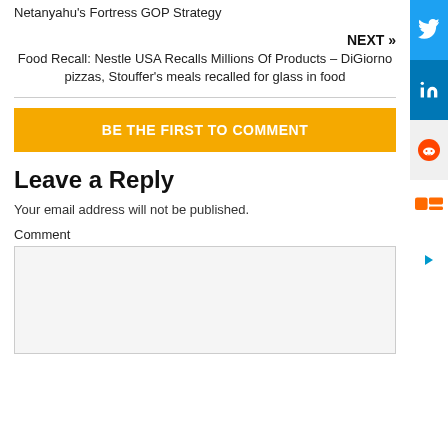Netanyahu's Fortress GOP Strategy
NEXT »
Food Recall: Nestle USA Recalls Millions Of Products – DiGiorno pizzas, Stouffer's meals recalled for glass in food
BE THE FIRST TO COMMENT
Leave a Reply
Your email address will not be published.
Comment